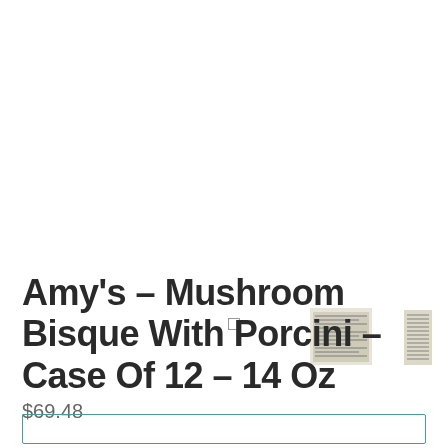[Figure (photo): Three small product thumbnail images: a tiny white square outline on left, a flat label/packaging view in center, and a side/tall label view on right]
Amy's - Mushroom Bisque With Porcini - Case Of 12 - 14 Oz
$69.48